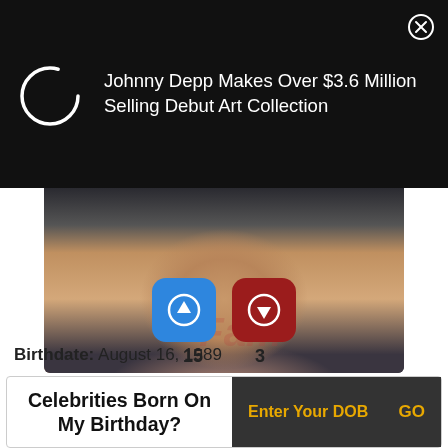Johnny Depp Makes Over $3.6 Million Selling Debut Art Collection
[Figure (photo): Close-up photo of a woman's neck and lower face, wearing a dark athletic top, black hair, dark background]
[Figure (infographic): Blue upvote button and dark red downvote button with counts 15 and 3]
Birthdate: August 16, 1989
Celebrities Born On My Birthday? Enter Your DOB GO